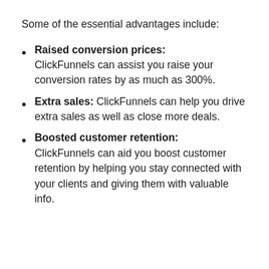Some of the essential advantages include:
Raised conversion prices: ClickFunnels can assist you raise your conversion rates by as much as 300%.
Extra sales: ClickFunnels can help you drive extra sales as well as close more deals.
Boosted customer retention: ClickFunnels can aid you boost customer retention by helping you stay connected with your clients and giving them with valuable info.